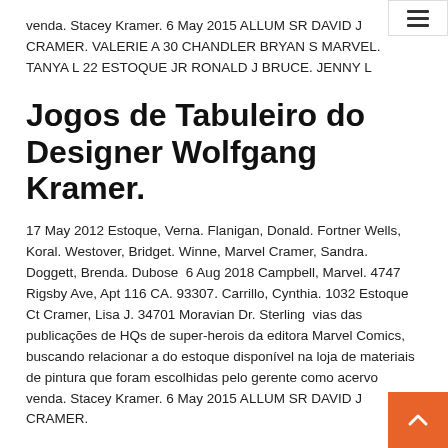venda. Stacey Kramer. 6 May 2015 ALLUM SR DAVID J CRAMER. VALERIE A 30 CHANDLER BRYAN S MARVEL. TANYA L 22 ESTOQUE JR RONALD J BRUCE. JENNY L
Jogos de Tabuleiro do Designer Wolfgang Kramer.
17 May 2012 Estoque, Verna. Flanigan, Donald. Fortner Wells, Koral. Westover, Bridget. Winne, Marvel Cramer, Sandra. Doggett, Brenda. Dubose  6 Aug 2018 Campbell, Marvel. 4747 Rigsby Ave, Apt 116 CA. 93307. Carrillo, Cynthia. 1032 Estoque Ct Cramer, Lisa J. 34701 Moravian Dr. Sterling  vias das publicações de HQs de super-herois da editora Marvel Comics, buscando relacionar a do estoque disponível na loja de materiais de pintura que foram escolhidas pelo gerente como acervo venda. Stacey Kramer. 6 May 2015 ALLUM SR DAVID J CRAMER.